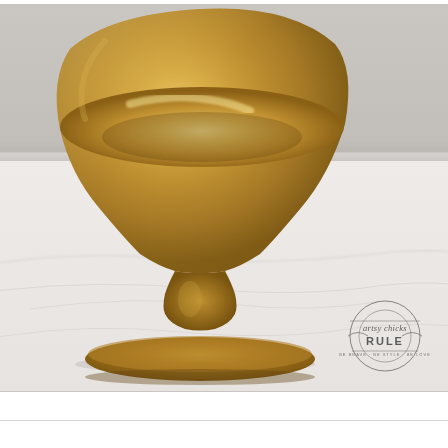[Figure (photo): A matte gold/brass pedestal bowl (compote) sitting on a white marble countertop with grey veining. The bowl has a wide flared rim, a tapered body, a rounded knob stem, and a flat circular base. The background upper portion shows a light grey wall. A watermark reading 'artsy chicks RULE' with a circular design is in the lower right corner.]